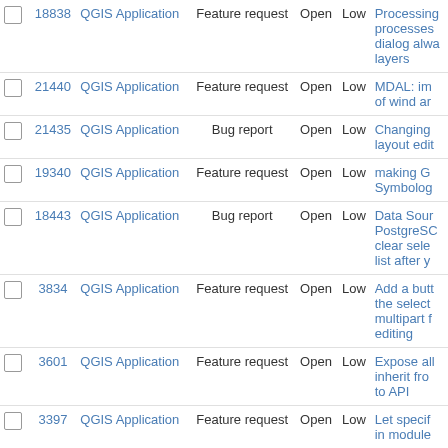|  | # | Application | Type | Status | Priority | Summary |
| --- | --- | --- | --- | --- | --- | --- |
|  | 18838 | QGIS Application | Feature request | Open | Low | Processing processes dialog alwa layers |
|  | 21440 | QGIS Application | Feature request | Open | Low | MDAL: im of wind ar |
|  | 21435 | QGIS Application | Bug report | Open | Low | Changing layout edit |
|  | 19340 | QGIS Application | Feature request | Open | Low | making G Symbolog |
|  | 18443 | QGIS Application | Bug report | Open | Low | Data Sour PostgreSC clear sele list after y |
|  | 3834 | QGIS Application | Feature request | Open | Low | Add a butt the select multipart f editing |
|  | 3601 | QGIS Application | Feature request | Open | Low | Expose al inherit fro to API |
|  | 3397 | QGIS Application | Feature request | Open | Low | Let specif in modul |
|  | 20197 | QGIS Application | Feature request | Open | Low | Show Pos Foreign Ta Manager p |
|  | 1898 | QGIS Application | Feature request | Open | Low | Group Transpare for Legend |
|  | 7050 | QGIS Application | Bug report | Open | Low | Inconsiste strings |
|  | 19698 | QGIS Application | Feature request | Open | Low | Improve |